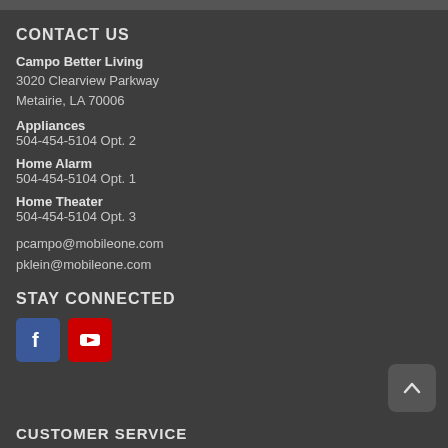CONTACT US
Campo Better Living
3020 Clearview Parkway
Metairie, LA 70006
Appliances
504-454-5104 Opt. 2
Home Alarm
504-454-5104 Opt. 1
Home Theater
504-454-5104 Opt. 3
pcampo@mobileone.com
pklein@mobileone.com
STAY CONNECTED
[Figure (illustration): Facebook and YouTube social media icons, plus a back-to-top arrow button]
CUSTOMER SERVICE